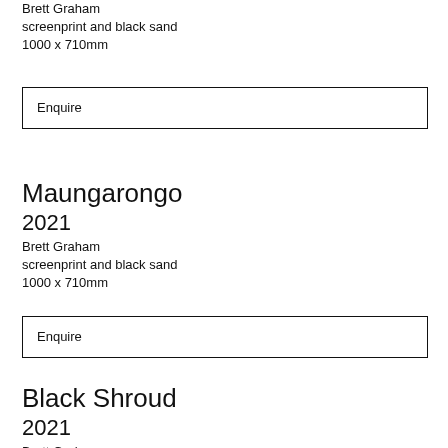Brett Graham
screenprint and black sand
1000 x 710mm
Enquire
Maungarongo
2021
Brett Graham
screenprint and black sand
1000 x 710mm
Enquire
Black Shroud
2021
Brett Graham